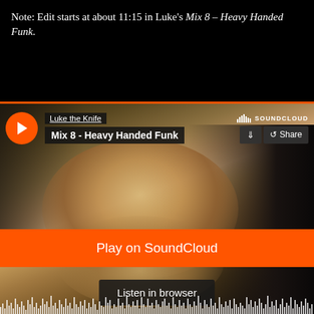Note: Edit starts at about 11:15 in Luke's Mix 8 – Heavy Handed Funk.
[Figure (screenshot): SoundCloud embedded player showing 'Mix 8 - Heavy Handed Funk' by Luke the Knife. Shows a background photo of a person with outstretched hands. Contains a play button (orange circle), track info overlay, SoundCloud logo, download and share buttons, a large orange 'Play on SoundCloud' button, a 'Listen in browser' button, and a waveform visualization at the bottom.]